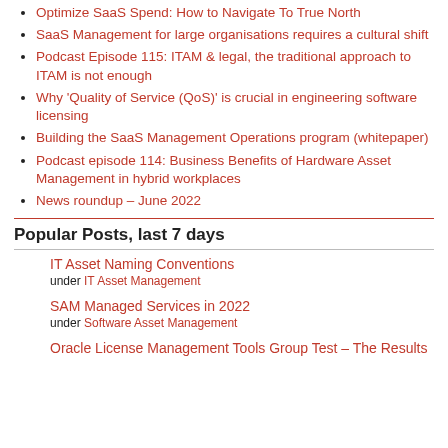Optimize SaaS Spend: How to Navigate To True North
SaaS Management for large organisations requires a cultural shift
Podcast Episode 115: ITAM & legal, the traditional approach to ITAM is not enough
Why 'Quality of Service (QoS)' is crucial in engineering software licensing
Building the SaaS Management Operations program (whitepaper)
Podcast episode 114: Business Benefits of Hardware Asset Management in hybrid workplaces
News roundup – June 2022
Popular Posts, last 7 days
IT Asset Naming Conventions
under IT Asset Management
SAM Managed Services in 2022
under Software Asset Management
Oracle License Management Tools Group Test – The Results